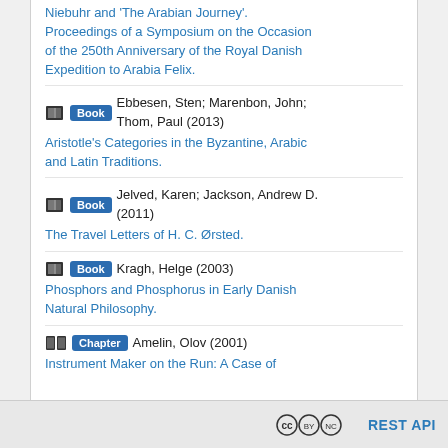Niebuhr and 'The Arabian Journey'. Proceedings of a Symposium on the Occasion of the 250th Anniversary of the Royal Danish Expedition to Arabia Felix.
Book | Ebbesen, Sten; Marenbon, John; Thom, Paul (2013) | Aristotle's Categories in the Byzantine, Arabic and Latin Traditions.
Book | Jelved, Karen; Jackson, Andrew D. (2011) | The Travel Letters of H. C. Ørsted.
Book | Kragh, Helge (2003) | Phosphors and Phosphorus in Early Danish Natural Philosophy.
Chapter | Amelin, Olov (2001) | Instrument Maker on the Run: A Case of
CC BY NC | REST API